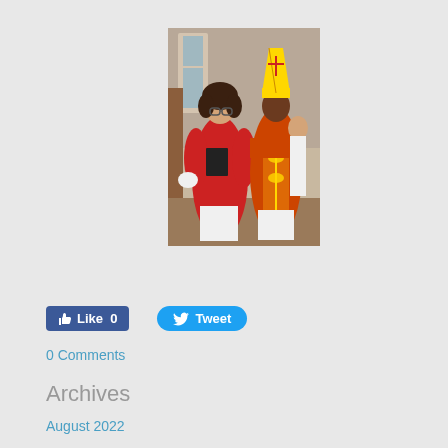[Figure (photo): Two people in religious vestments standing in a church. A woman in a red robe holding a book on the left, and a bishop in ornate red and gold vestments with a gold mitre on the right.]
[Figure (screenshot): Facebook Like button showing 0 likes and a Twitter Tweet button]
0 Comments
Archives
August 2022